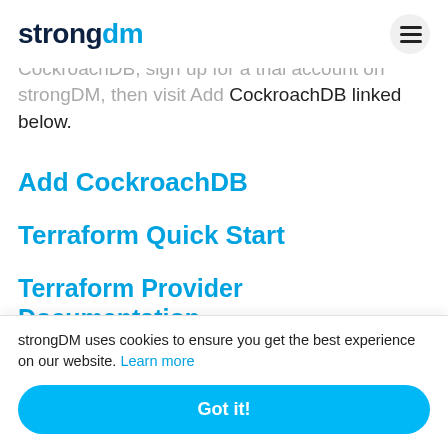strongdm [logo] [hamburger menu]
To get started using Terraform to configure CockroachDB, sign up for a trial account on strongDM, then visit Add CockroachDB linked below.
Add CockroachDB
Terraform Quick Start
Terraform Provider Documentation
Te...
Co...
strongDM uses cookies to ensure you get the best experience on our website. Learn more
Got it!